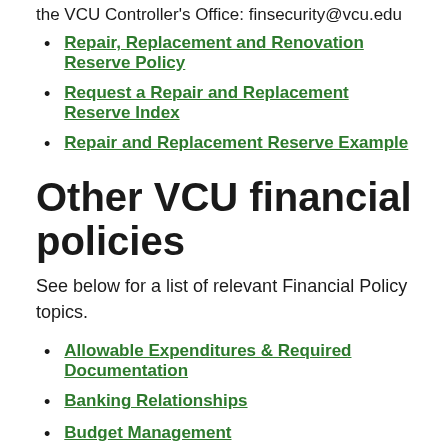the VCU Controller's Office: finsecurity@vcu.edu
Repair, Replacement and Renovation Reserve Policy
Request a Repair and Replacement Reserve Index
Repair and Replacement Reserve Example
Other VCU financial policies
See below for a list of relevant Financial Policy topics.
Allowable Expenditures & Required Documentation
Banking Relationships
Budget Management
Conflict of Interests Policy
Ethics in Public Contracting